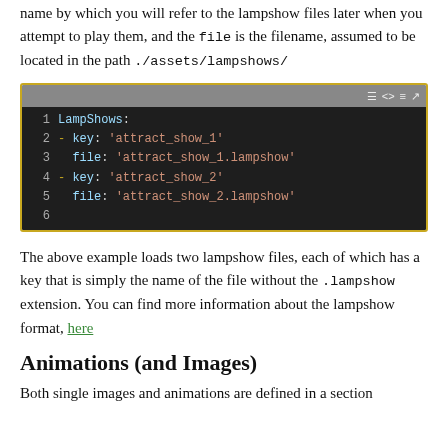lampshows files can be pre-loaded on asset load. The key is name by which you will refer to the lampshow files later when you attempt to play them, and the file is the filename, assumed to be located in the path ./assets/lampshows/
[Figure (screenshot): Code block showing YAML configuration for LampShows with two entries: key 'attract_show_1' with file 'attract_show_1.lampshow' and key 'attract_show_2' with file 'attract_show_2.lampshow']
The above example loads two lampshow files, each of which has a key that is simply the name of the file without the .lampshow extension. You can find more information about the lampshow format, here
Animations (and Images)
Both single images and animations are defined in a section